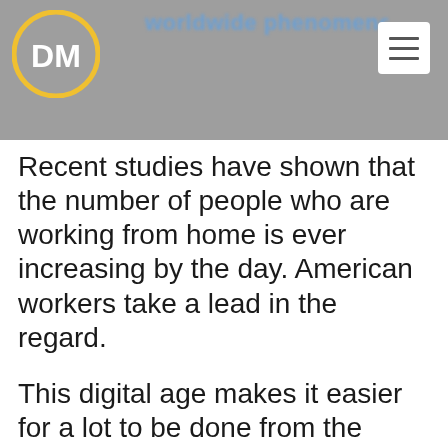worldwide phenomenon. The need to stay…
[Figure (logo): DM logo: white circle with yellow border containing bold white letters DM on grey background]
Recent studies have shown that the number of people who are working from home is ever increasing by the day. American workers take a lead in the regard.
This digital age makes it easier for a lot to be done from the comfort of your own home. You too can leverage on the ongoing technology to empower yourself. Working from home could be a lot of fun. However, you have to follow these steps to equip yourself.